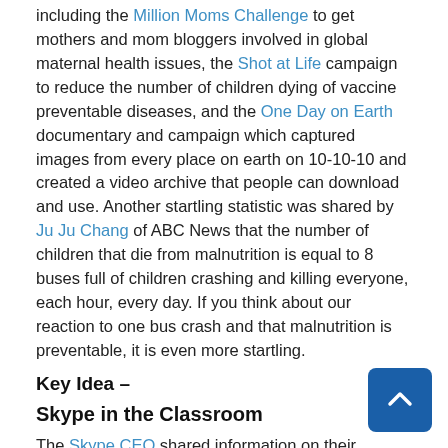including the Million Moms Challenge to get mothers and mom bloggers involved in global maternal health issues, the Shot at Life campaign to reduce the number of children dying of vaccine preventable diseases, and the One Day on Earth documentary and campaign which captured images from every place on earth on 10-10-10 and created a video archive that people can download and use. Another startling statistic was shared by Ju Ju Chang of ABC News that the number of children that die from malnutrition is equal to 8 buses full of children crashing and killing everyone, each hour, every day. If you think about our reaction to one bus crash and that malnutrition is preventable, it is even more startling.
Key Idea –
Skype in the Classroom
The Skype CEO shared information on their technology to connect teachers and classrooms around the globe. Teachers are sharing projects, having great guest speakers and